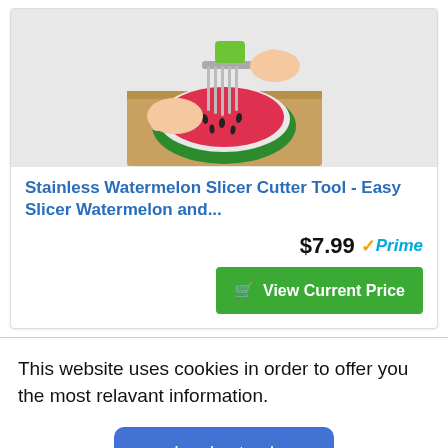[Figure (photo): Photo of hands using a stainless steel watermelon slicer cutter tool on a halved watermelon placed on a wooden cutting board]
Stainless Watermelon Slicer Cutter Tool - Easy Slicer Watermelon and...
$7.99 ✓Prime
🛒 View Current Price
This website uses cookies in order to offer you the most relavant information.
I understand